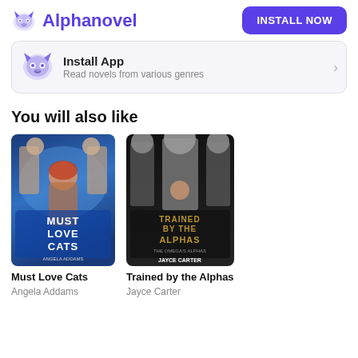Alphanovel | INSTALL NOW
[Figure (screenshot): App install banner with wolf logo, 'Install App' title, 'Read novels from various genres' subtitle, and arrow]
You will also like
[Figure (photo): Book cover: Must Love Cats by Angela Addams - fantasy romance cover with woman and men, blue tone]
Must Love Cats
Angela Addams
[Figure (photo): Book cover: Trained by the Alphas by Jayce Carter - dark romance cover with shirtless men, black and gold tones]
Trained by the Alphas
Jayce Carter